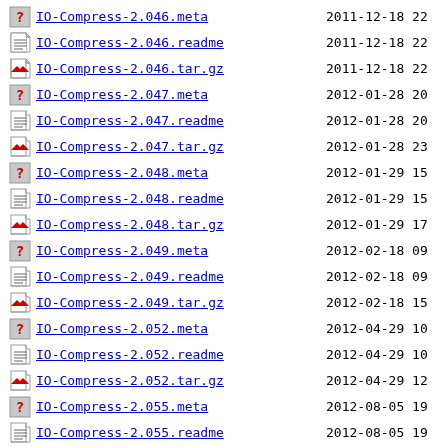IO-Compress-2.046.meta  2011-12-18 22
IO-Compress-2.046.readme  2011-12-18 22
IO-Compress-2.046.tar.gz  2011-12-18 22
IO-Compress-2.047.meta  2012-01-28 20
IO-Compress-2.047.readme  2012-01-28 20
IO-Compress-2.047.tar.gz  2012-01-28 23
IO-Compress-2.048.meta  2012-01-29 15
IO-Compress-2.048.readme  2012-01-29 15
IO-Compress-2.048.tar.gz  2012-01-29 17
IO-Compress-2.049.meta  2012-02-18 09
IO-Compress-2.049.readme  2012-02-18 09
IO-Compress-2.049.tar.gz  2012-02-18 15
IO-Compress-2.052.meta  2012-04-29 10
IO-Compress-2.052.readme  2012-04-29 10
IO-Compress-2.052.tar.gz  2012-04-29 12
IO-Compress-2.055.meta  2012-08-05 19
IO-Compress-2.055.readme  2012-08-05 19